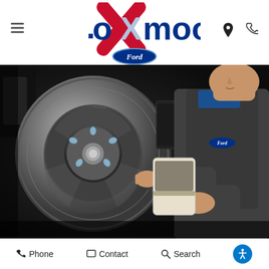[Figure (logo): Oxmoor Ford dealership logo with red X and blue Ford oval badge]
[Figure (photo): Ford technician in dark uniform working on a brake rotor/disc, holding brake components]
Phone   Contact   Search   [Accessibility]